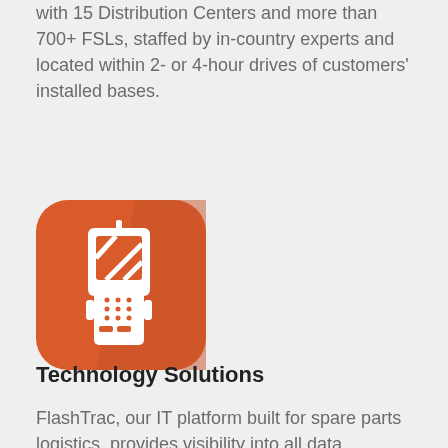with 15 Distribution Centers and more than 700+ FSLs, staffed by in-country experts and located within 2- or 4-hour drives of customers' installed bases.
[Figure (illustration): Orange rounded-square icon containing a white handheld barcode scanner / mobile device illustration with a diagonal shadow.]
Technology Solutions
FlashTrac, our IT platform built for spare parts logistics, provides visibility into all data associated